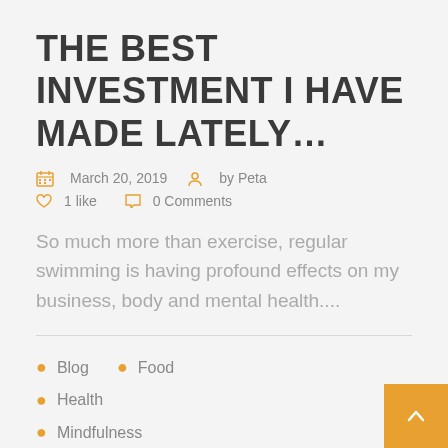THE BEST INVESTMENT I HAVE MADE LATELY…
March 20, 2019  by Peta  1 like  0 Comments
So much more than exercise, regular swimming is having profound effects on my business, body and mental health....
Blog
Food
Health
Mindfulness
Spirituality